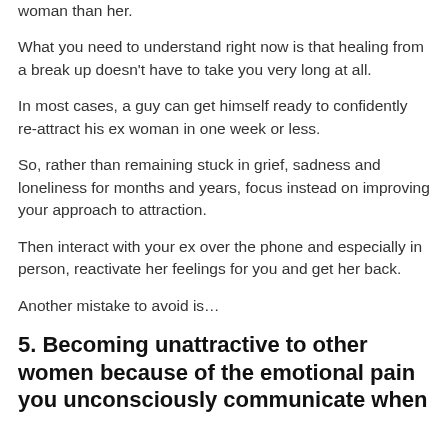woman than her.
What you need to understand right now is that healing from a break up doesn't have to take you very long at all.
In most cases, a guy can get himself ready to confidently re-attract his ex woman in one week or less.
So, rather than remaining stuck in grief, sadness and loneliness for months and years, focus instead on improving your approach to attraction.
Then interact with your ex over the phone and especially in person, reactivate her feelings for you and get her back.
Another mistake to avoid is…
5. Becoming unattractive to other women because of the emotional pain you unconsciously communicate when